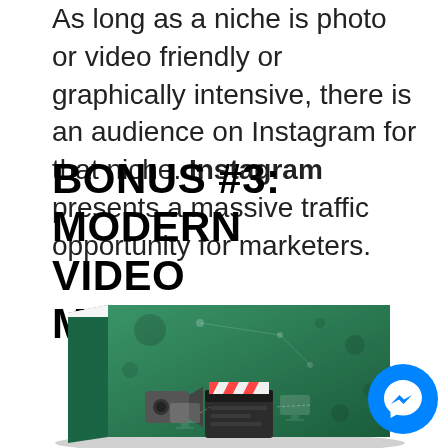As long as a niche is photo or video friendly or graphically intensive, there is an audience on Instagram for that niche. Instagram presents a massive traffic opportunity for marketers.
BONUS #3: MODERN VIDEO MARKETING
[Figure (illustration): A green hardcover book titled 'Modern Video Marketing' with film clapperboard and video camera icons on the cover, shown in a 3D perspective angle.]